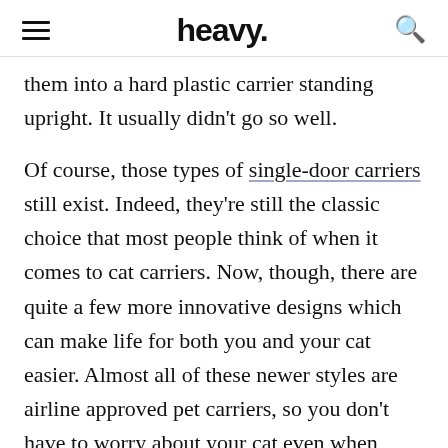heavy.
them into a hard plastic carrier standing upright. It usually didn't go so well.
Of course, those types of single-door carriers still exist. Indeed, they're still the classic choice that most people think of when it comes to cat carriers. Now, though, there are quite a few more innovative designs which can make life for both you and your cat easier. Almost all of these newer styles are airline approved pet carriers, so you don't have to worry about your cat even when flying. Many are fabric rather than plastic, and many of them fold up to conserve space when not in use.